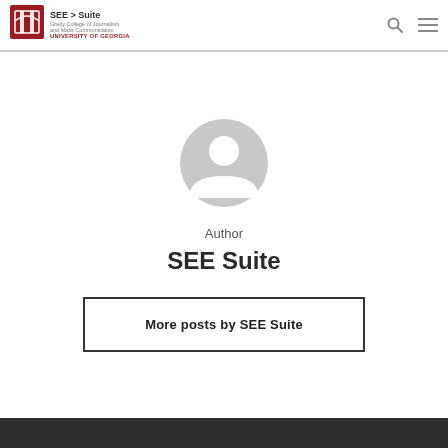SEE > Suite | Grady College of Journalism and Mass Communication | UNIVERSITY OF GEORGIA
[Figure (illustration): Gray circular avatar/user profile placeholder icon showing a silhouette of a person's head and shoulders]
Author
SEE Suite
More posts by SEE Suite